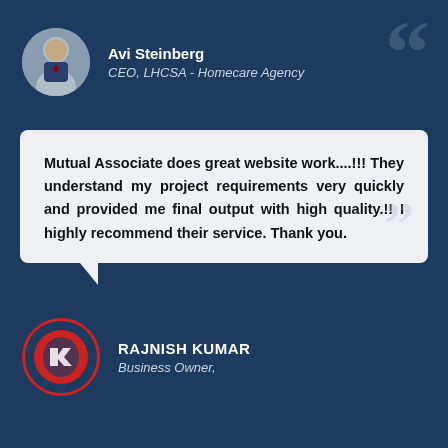Avi Steinberg
CEO, LHCSA - Homecare Agency
Mutual Associate does great website work....!!! They understand my project requirements very quickly and provided me final output with high quality.!! I highly recommend their service. Thank you.
RAJNISH KUMAR
Business Owner,